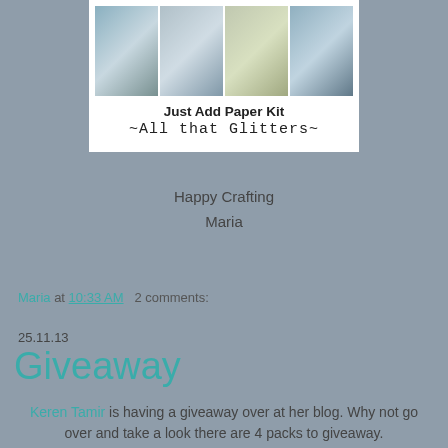[Figure (photo): Product image of Just Add Paper Kit - All that Glitters, showing a collage of four craft supply photos with blue/teal tones]
Just Add Paper Kit
~All that Glitters~
Happy Crafting
Maria
Maria at 10:33 AM   2 comments:
25.11.13
Giveaway
Keren Tamir is having a giveaway over at her blog. Why not go over and take a look there are 4 packs to giveaway.